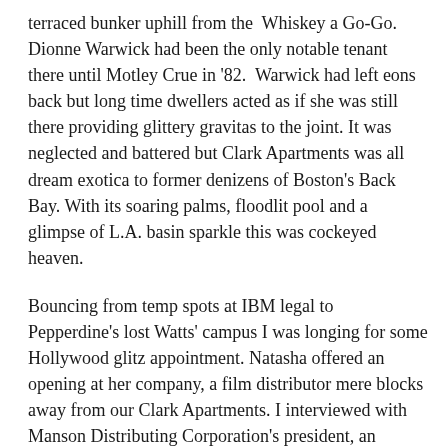terraced bunker uphill from the Whiskey a Go-Go. Dionne Warwick had been the only notable tenant there until Motley Crue in '82. Warwick had left eons back but long time dwellers acted as if she was still there providing glittery gravitas to the joint. It was neglected and battered but Clark Apartments was all dream exotica to former denizens of Boston's Back Bay. With its soaring palms, floodlit pool and a glimpse of L.A. basin sparkle this was cockeyed heaven.
Bouncing from temp spots at IBM legal to Pepperdine's lost Watts' campus I was longing for some Hollywood glitz appointment. Natasha offered an opening at her company, a film distributor mere blocks away from our Clark Apartments. I interviewed with Manson Distributing Corporation's president, an anxious, awkwardly jovial gentleman named Michael Goldman. After mild chit chat, Goldman hired me. Obviously Natasha's recommendation was key, tinsel town nepotism at work.